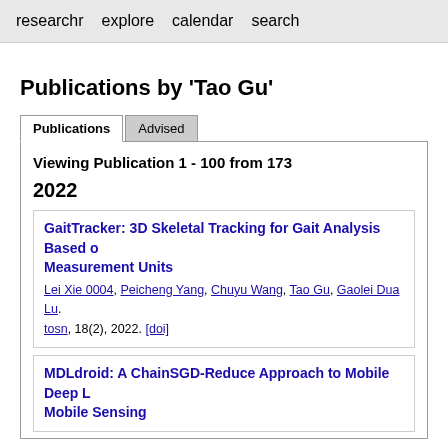researchr  explore  calendar  search
Publications by 'Tao Gu'
Viewing Publication 1 - 100 from 173
2022
GaitTracker: 3D Skeletal Tracking for Gait Analysis Based on Inertial Measurement Units. Lei Xie 0004, Peicheng Yang, Chuyu Wang, Tao Gu, Gaolei Duan, Sanglu Lu. tosn, 18(2), 2022. [doi]
MDLdroid: A ChainSGD-Reduce Approach to Mobile Deep Learning for Mobile Sensing